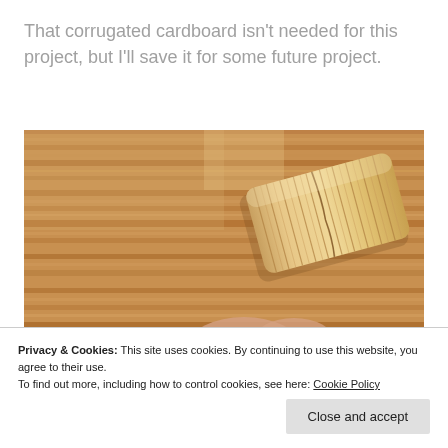That corrugated cardboard isn't needed for this project, but I'll save it for some future project.
[Figure (photo): A hand holding a ribbed/corrugated wooden dowel pin against a wood surface (oak or similar), viewed from above.]
Privacy & Cookies: This site uses cookies. By continuing to use this website, you agree to their use.
To find out more, including how to control cookies, see here: Cookie Policy
Close and accept